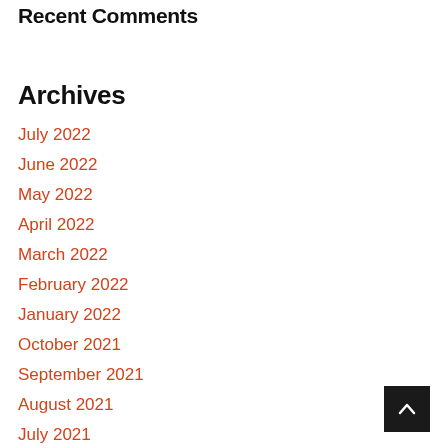Recent Comments
Archives
July 2022
June 2022
May 2022
April 2022
March 2022
February 2022
January 2022
October 2021
September 2021
August 2021
July 2021
June 2021